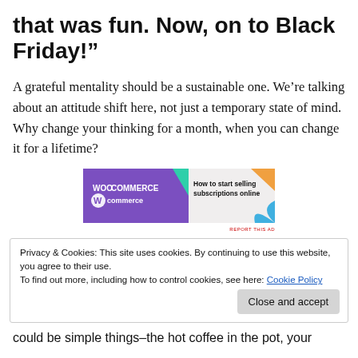that was fun. Now, on to Black Friday!"
A grateful mentality should be a sustainable one. We’re talking about an attitude shift here, not just a temporary state of mind. Why change your thinking for a month, when you can change it for a lifetime?
[Figure (other): WooCommerce advertisement banner: purple left panel with WooCommerce logo, green triangle accent, right panel with text 'How to start selling subscriptions online', orange triangle top right, blue arc bottom right. 'REPORT THIS AD' text below.]
Privacy & Cookies: This site uses cookies. By continuing to use this website, you agree to their use.
To find out more, including how to control cookies, see here: Cookie Policy
Close and accept
could be simple things–the hot coffee in the pot, your